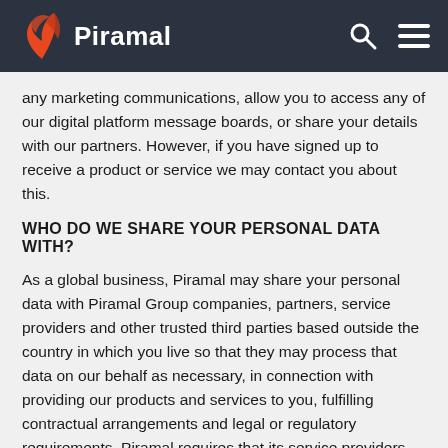Piramal
any marketing communications, allow you to access any of our digital platform message boards, or share your details with our partners. However, if you have signed up to receive a product or service we may contact you about this.
WHO DO WE SHARE YOUR PERSONAL DATA WITH?
As a global business, Piramal may share your personal data with Piramal Group companies, partners, service providers and other trusted third parties based outside the country in which you live so that they may process that data on our behalf as necessary, in connection with providing our products and services to you, fulfilling contractual arrangements and legal or regulatory requirements. Piramal requires that its service providers and such other third parties keep your personal data confidential and that they only use the personal data in furtherance of the specific purpose for which it was disclosed.
We may share your personal data with: